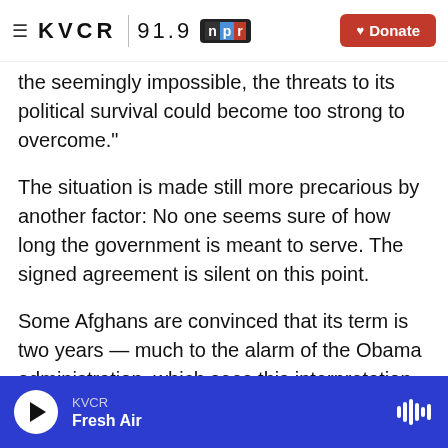≡ KVCR | 91.9 npr ♥ Donate
the seemingly impossible, the threats to its political survival could become too strong to overcome."
The situation is made still more precarious by another factor: No one seems sure of how long the government is meant to serve. The signed agreement is silent on this point.
Some Afghans are convinced that its term is two years — much to the alarm of the Obama administration, which sees this interpretation as further destabilizing. Kerry sought to douse this fire during a recent visit to Kabul. He categorically
KVCR  Fresh Air